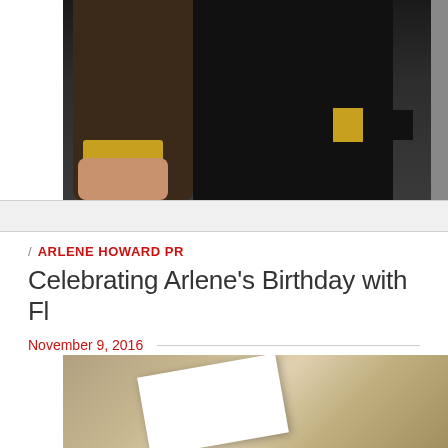[Figure (photo): Partial photo showing torsos/bodies of people in dark clothing, one with a yellow/gold cuff visible, with a grey background wall on the right side]
/ ARLENE HOWARD PR
Celebrating Arlene's Birthday with Fl…
November 9, 2016
[Figure (photo): Partial photo showing what appears to be paper/card against a tan/brown background, possibly gift wrapping or an envelope]